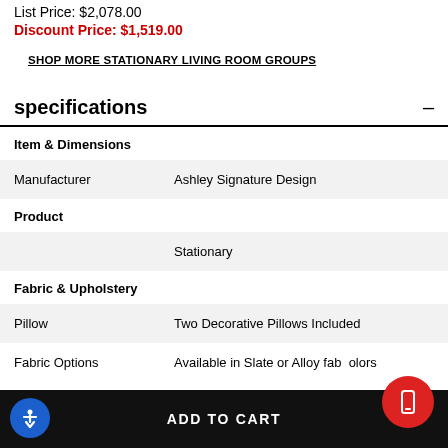List Price: $2,078.00
Discount Price: $1,519.00
SHOP MORE STATIONARY LIVING ROOM GROUPS
specifications
| Item & Dimensions |  |
| Manufacturer | Ashley Signature Design |
| Product |  |
|  | Stationary |
| Fabric & Upholstery |  |
| Pillow | Two Decorative Pillows Included |
| Fabric Options | Available in Slate or Alloy fab  olors |
ADD TO CART